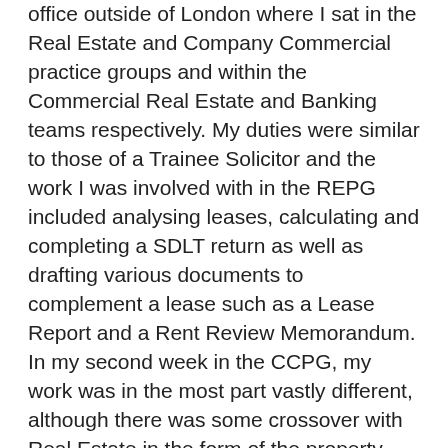office outside of London where I sat in the Real Estate and Company Commercial practice groups and within the Commercial Real Estate and Banking teams respectively. My duties were similar to those of a Trainee Solicitor and the work I was involved with in the REPG included analysing leases, calculating and completing a SDLT return as well as drafting various documents to complement a lease such as a Lease Report and a Rent Review Memorandum. In my second week in the CCPG, my work was in the most part vastly different, although there was some crossover with Real Estate in the form of the property securities that banks would take on their loan agreements. During my Banking seat, I aided the completion of multiple transactions by creating and updating the supporting documents required such as the Completion Checklist, Shareholder Review and Completion Statement as well as drafting vital transaction documents including various Deed of Confirmations for both Borrowers and Guarantors, Fee Letters and a Legal Opinion.